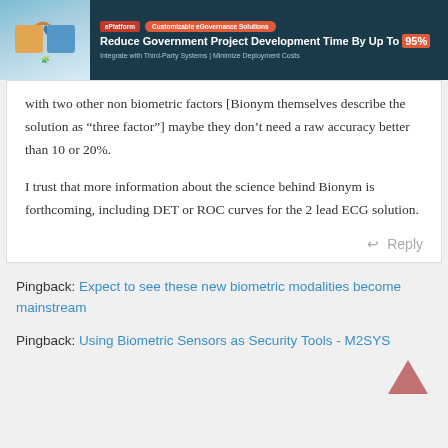[Figure (screenshot): Advertisement banner for ePlatform eGovernance solutions with puzzle piece image on teal background]
with two other non biometric factors [Bionym themselves describe the solution as “three factor”] maybe they don’t need a raw accuracy better than 10 or 20%.
I trust that more information about the science behind Bionym is forthcoming, including DET or ROC curves for the 2 lead ECG solution.
Reply
Pingback: Expect to see these new biometric modalities become mainstream
Pingback: Using Biometric Sensors as Security Tools - M2SYS